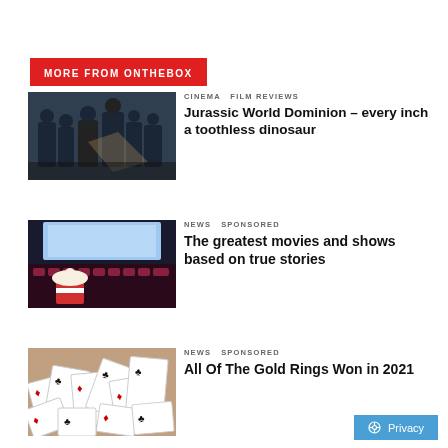MORE FROM ONTHEBOX
[Figure (photo): Group of people in dark setting with flashlight, Jurassic World Dominion movie still]
CINEMA  FILM REVIEWS
Jurassic World Dominion – every inch a toothless dinosaur
[Figure (photo): Movie theater interior with popcorn bucket in foreground and rows of seats]
NEWS  SPONSORED
The greatest movies and shows based on true stories
[Figure (photo): Scattered playing cards with clubs and diamonds face up]
NEWS  SPONSORED
All Of The Gold Rings Won in 2021
Privacy